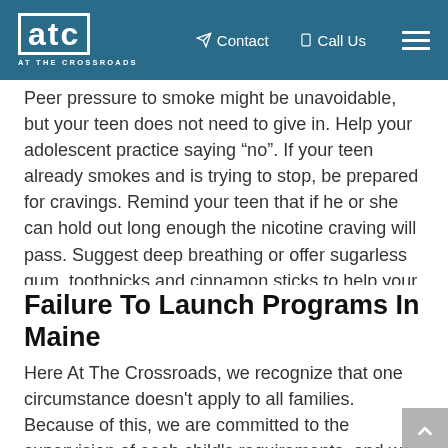ATC AT THE CROSSROADS | Contact | Call Us
Peer pressure to smoke might be unavoidable, but your teen does not need to give in. Help your adolescent practice saying “no”. If your teen already smokes and is trying to stop, be prepared for cravings. Remind your teen that if he or she can hold out long enough the nicotine craving will pass. Suggest deep breathing or offer sugarless gum, toothpicks and cinnamon sticks to help your teen keep his or her mouth busy.
Failure To Launch Programs In Maine
Here At The Crossroads, we recognize that one circumstance doesn't apply to all families. Because of this, we are committed to the supervision of each child's requirements, and we do this with precision and